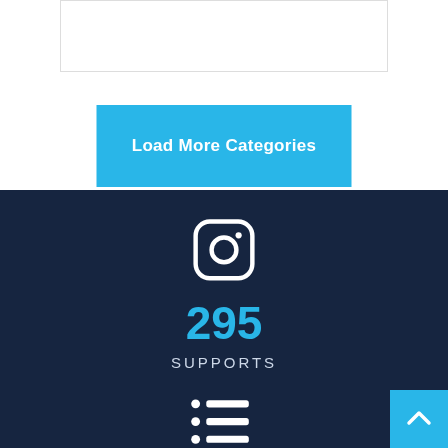[Figure (other): A white card/box element at the top of the page]
Load More Categories
[Figure (other): Dark navy blue footer section with Instagram icon, number 295, text SUPPORTS, a list icon, and a back-to-top button]